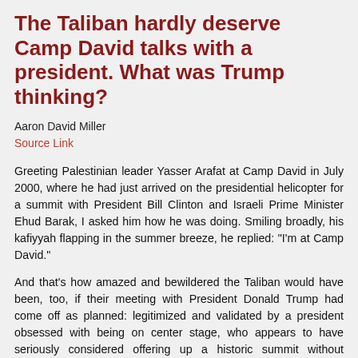The Taliban hardly deserve Camp David talks with a president. What was Trump thinking?
Aaron David Miller
Source Link
Greeting Palestinian leader Yasser Arafat at Camp David in July 2000, where he had just arrived on the presidential helicopter for a summit with President Bill Clinton and Israeli Prime Minister Ehud Barak, I asked him how he was doing. Smiling broadly, his kafiyyah flapping in the summer breeze, he replied: "I'm at Camp David."
And that’s how amazed and bewildered the Taliban would have been, too, if their meeting with President Donald Trump had come off as planned: legitimized and validated by a president obsessed with being on center stage, who appears to have seriously considered offering up a historic summit without thinking through the consequences.